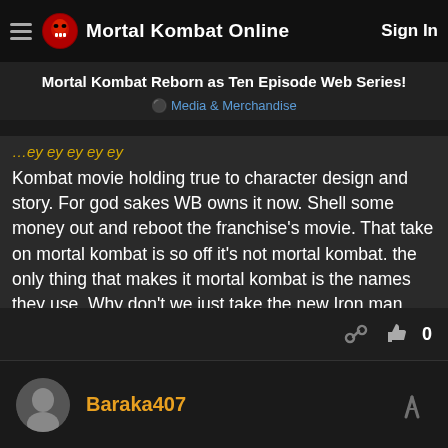Mortal Kombat Online   Sign In
Mortal Kombat Reborn as Ten Episode Web Series!
Media & Merchandise
Kombat movie holding true to character design and story. For god sakes WB owns it now. Shell some money out and reboot the franchise's movie. That take on mortal kombat is so off it's not mortal kombat. the only thing that makes it mortal kombat is the names they use. Why don't we just take the new Iron man movie and make war machine smoke and iron man secktor and we got ourselves a better take on mortal kombat.n
Baraka407